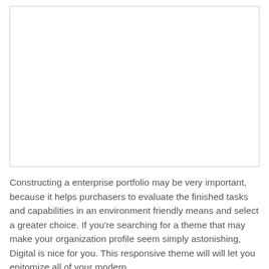[Figure (other): Large blank white rectangular image placeholder with a thin light gray border]
Constructing a enterprise portfolio may be very important, because it helps purchasers to evaluate the finished tasks and capabilities in an environment friendly means and select a greater choice. If you're searching for a theme that may make your organization profile seem simply astonishing, Digital is nice for you. This responsive theme will will let you epitomize all of your modern